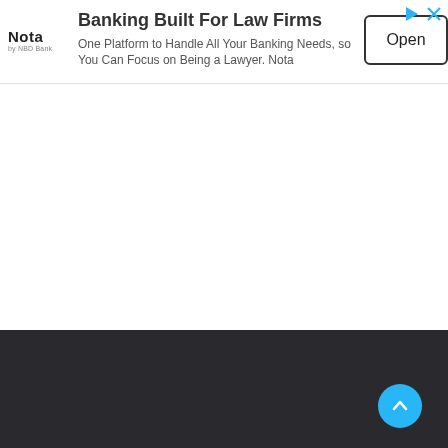[Figure (screenshot): Advertisement banner for Nota banking platform for law firms. Contains Nota logo, headline 'Banking Built For Law Firms', body text, and an 'Open' button. Also shows a collapse/chevron button on left side, a cyan Feedback tab on the right edge, and a dark footer with a cyan scroll-to-top circular button.]